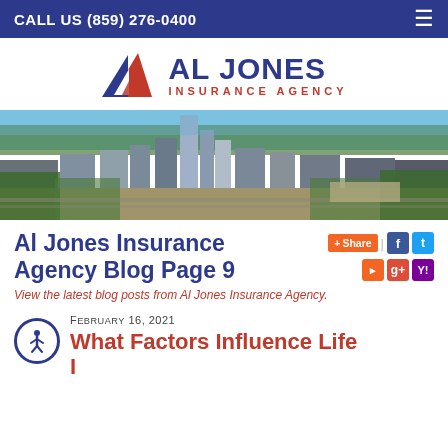CALL US (859) 276-0400
[Figure (logo): Al Jones Insurance Agency logo with triangle/mountain icon and text]
[Figure (photo): Aerial cityscape photo of Lexington, KY downtown area with buildings and trees]
Al Jones Insurance Agency Blog Page 9
View the latest blog posts from Al Jones Insurance Agency.
February 16, 2021
What Factors Influence Life Insurance Cost